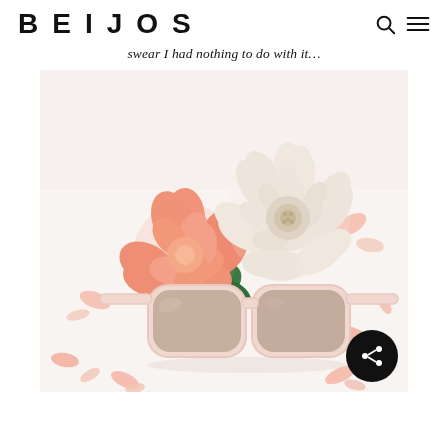BEIJOS
swear I had nothing to do with it…
[Figure (photo): Flat lay photo of pink sunglasses with peach and cream flowers (dahlia and carnation) on a white background, scattered pink petals around. A dark circular share button overlays bottom right.]